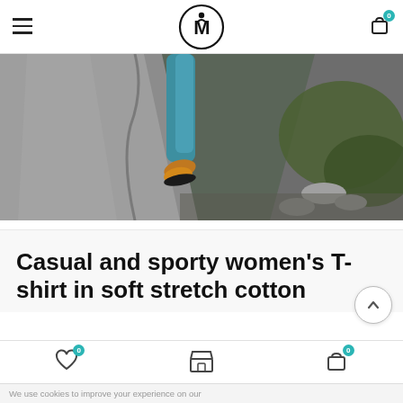Navigation header with hamburger menu, M logo, and cart icon
[Figure (photo): Rock climbing photo showing a person's legs and climbing shoes on a boulder, with rocks and foliage in the background]
Casual and sporty women's T-shirt in soft stretch cotton
Bottom navigation bar with wishlist (0), store, and cart (0) icons; cookie notice: We use cookies to improve your experience on our